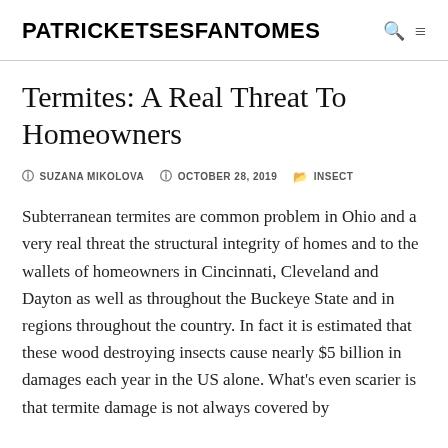PATRICKETSESFANTOMES
Termites: A Real Threat To Homeowners
SUZANA MIKOLOVA   OCTOBER 28, 2019   INSECT
Subterranean termites are common problem in Ohio and a very real threat the structural integrity of homes and to the wallets of homeowners in Cincinnati, Cleveland and Dayton as well as throughout the Buckeye State and in regions throughout the country. In fact it is estimated that these wood destroying insects cause nearly $5 billion in damages each year in the US alone. What’s even scarier is that termite damage is not always covered by